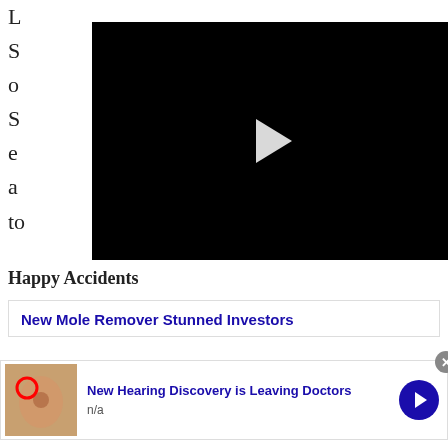[Figure (screenshot): Black video player with white play button triangle in center]
Happy Accidents
[Figure (screenshot): Advertisement box: New Mole Remover Stunned Investors]
[Figure (screenshot): Advertisement banner: New Hearing Discovery is Leaving Doctors, n/a, with ear anatomy image and blue arrow button, close X button]